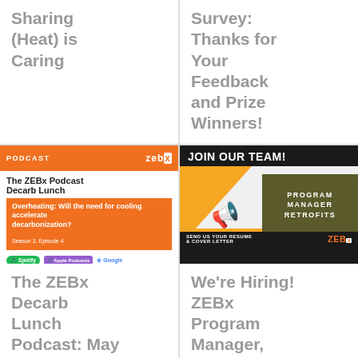Sharing (Heat) is Caring
Survey: Thanks for Your Feedback and Prize Winners!
[Figure (illustration): ZEBx Podcast Decarb Lunch episode graphic for Overheating: Will the need for cooling accelerate decarbonization? with Spotify, Apple Podcasts, and Google podcast icons]
The ZEBx Decarb Lunch Podcast: May 2022, Overheating: Will the need for cooling
[Figure (illustration): Join Our Team! Program Manager Retrofits - Send us your resume and cover letter - ZEBx hiring banner with megaphone graphic]
We're Hiring! ZEBx Program Manager, Retrofits